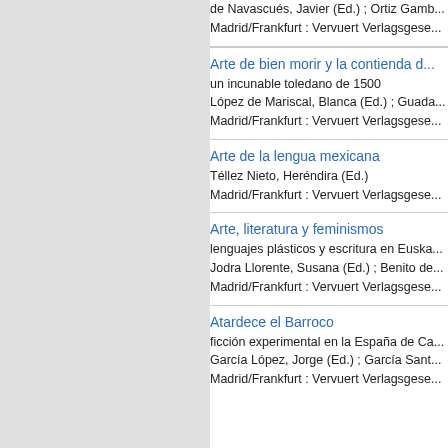de Navascués, Javier (Ed.) ; Ortiz Gamb...
Madrid/Frankfurt : Vervuert Verlagsgese...
Arte de bien morir y la contienda d...
un incunable toledano de 1500
López de Mariscal, Blanca (Ed.) ; Guada...
Madrid/Frankfurt : Vervuert Verlagsgese...
Arte de la lengua mexicana
Téllez Nieto, Heréndira (Ed.)
Madrid/Frankfurt : Vervuert Verlagsgese...
Arte, literatura y feminismos
lenguajes plásticos y escritura en Euska...
Jodra Llorente, Susana (Ed.) ; Benito de...
Madrid/Frankfurt : Vervuert Verlagsgese...
Atardece el Barroco
ficción experimental en la España de Ca...
García López, Jorge (Ed.) ; García Sant...
Madrid/Frankfurt : Vervuert Verlagsgese...